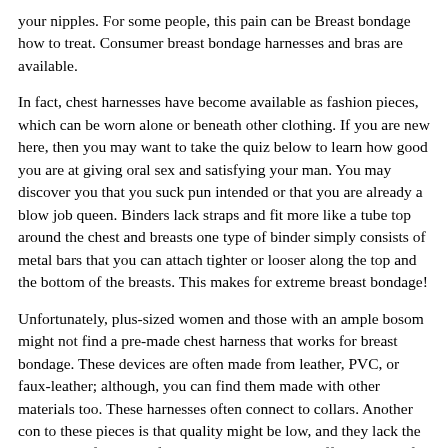your nipples. For some people, this pain can be Breast bondage how to treat. Consumer breast bondage harnesses and bras are available.
In fact, chest harnesses have become available as fashion pieces, which can be worn alone or beneath other clothing. If you are new here, then you may want to take the quiz below to learn how good you are at giving oral sex and satisfying your man. You may discover you that you suck pun intended or that you are already a blow job queen. Binders lack straps and fit more like a tube top around the chest and breasts one type of binder simply consists of metal bars that you can attach tighter or looser along the top and the bottom of the breasts. This makes for extreme breast bondage!
Unfortunately, plus-sized women and those with an ample bosom might not find a pre-made chest harness that works for breast bondage. These devices are often made from leather, PVC, or faux-leather; although, you can find them made with other materials too. These harnesses often connect to collars. Another con to these pieces is that quality might be low, and they lack the versatility of a piece of rope that can become a different style of breast bondage every time you use it.
Some do have rings to which you can attach other bondage straps, however. There are a lot of considerations when it comes to rope. To...